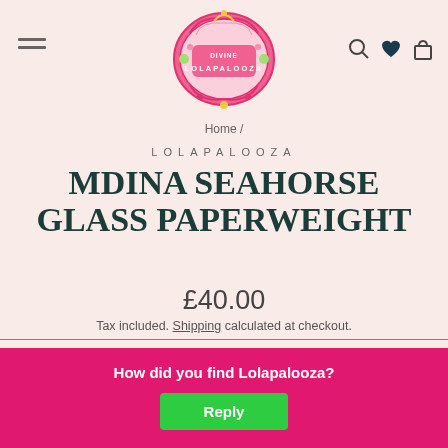[Figure (logo): Lolapalooza ornate pink decorative logo badge with floral and scroll elements]
Home /
LOLAPALOOZA
MDINA SEAHORSE GLASS PAPERWEIGHT
£40.00
Tax included. Shipping calculated at checkout.
Worldwide shipping is available, ple... e shipping
How did you find Lolapalooza?
Reply